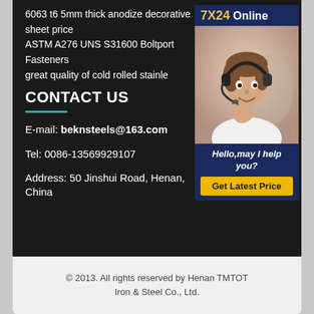6063 t6 5mm thick anodize decorative sheet price
ASTM A276 UNS S31600 Boltport Fasteners
great quality of cold rolled stainle
CONTACT US
E-mail: beknsteels@163.com
Tel: 0086-13569929107
Address: 50 Jinshui Road, Henan, China
[Figure (photo): Customer service representative wearing headset, with 7X24 Online widget banner, Hello may I help you text, and Get Latest Price button]
© 2013. All rights reserved by Henan TMTOT Iron & Steel Co., Ltd.